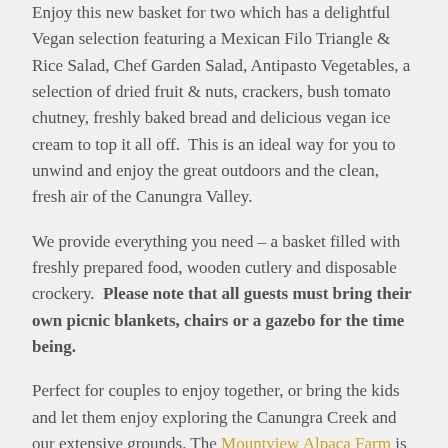Enjoy this new basket for two which has a delightful Vegan selection featuring a Mexican Filo Triangle & Rice Salad, Chef Garden Salad, Antipasto Vegetables, a selection of dried fruit & nuts, crackers, bush tomato chutney, freshly baked bread and delicious vegan ice cream to top it all off.  This is an ideal way for you to unwind and enjoy the great outdoors and the clean, fresh air of the Canungra Valley.
We provide everything you need – a basket filled with freshly prepared food, wooden cutlery and disposable crockery.  Please note that all guests must bring their own picnic blankets, chairs or a gazebo for the time being.
Perfect for couples to enjoy together, or bring the kids and let them enjoy exploring the Canungra Creek and our extensive grounds. The Mountview Alpaca Farm is also located on our property, so can get your share of adorable Alpaca cuddles, feeding and even take one for a